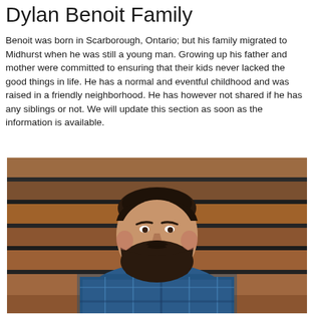Dylan Benoit Family
Benoit was born in Scarborough, Ontario; but his family migrated to Midhurst when he was still a young man. Growing up his father and mother were committed to ensuring that their kids never lacked the good things in life. He has a normal and eventful childhood and was raised in a friendly neighborhood. He has however not shared if he has any siblings or not. We will update this section as soon as the information is available.
[Figure (photo): Portrait photo of Dylan Benoit, a bearded man wearing a blue plaid shirt, smiling at the camera. Background shows horizontal wooden planks/boards.]